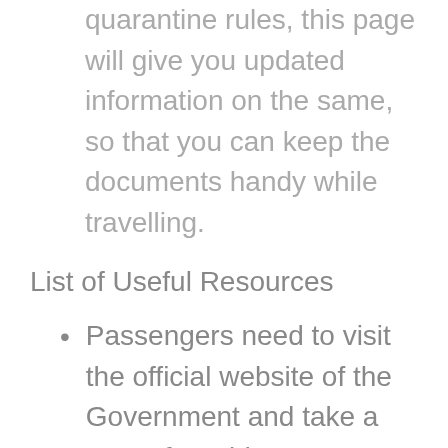quarantine rules, this page will give you updated information on the same, so that you can keep the documents handy while travelling.
List of Useful Resources
Passengers need to visit the official website of the Government and take a note of Covid-19 PCR test validity for traveling on this bus route.
Key Points to Remember for